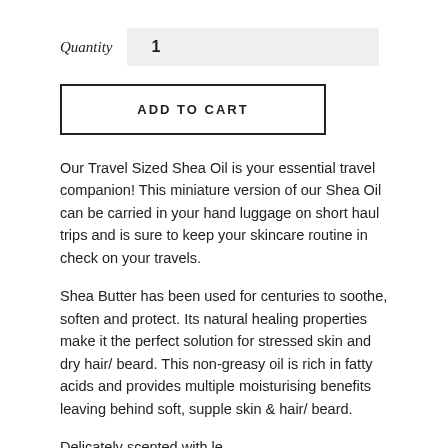Quantity   1
ADD TO CART
Our Travel Sized Shea Oil is your essential travel companion! This miniature version of our Shea Oil can be carried in your hand luggage on short haul trips and is sure to keep your skincare routine in check on your travels.
Shea Butter has been used for centuries to soothe, soften and protect. Its natural healing properties make it the perfect solution for stressed skin and dry hair/ beard. This non-greasy oil is rich in fatty acids and provides multiple moisturising benefits leaving behind soft, supple skin & hair/ beard.
Delicately scented with lemon...this luxurious oil...